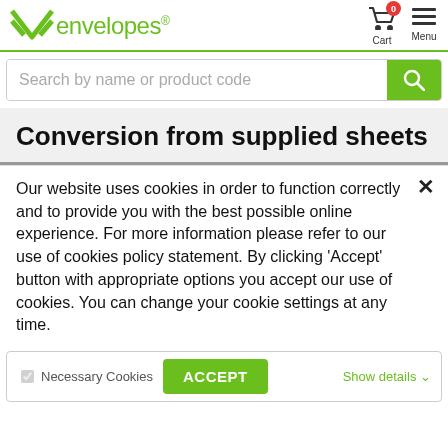envelopes® | Cart | Menu
Search by name or product code
Conversion from supplied sheets
Our website uses cookies in order to function correctly and to provide you with the best possible online experience. For more information please refer to our use of cookies policy statement. By clicking 'Accept' button with appropriate options you accept our use of cookies. You can change your cookie settings at any time.
Necessary Cookies | ACCEPT | Show details